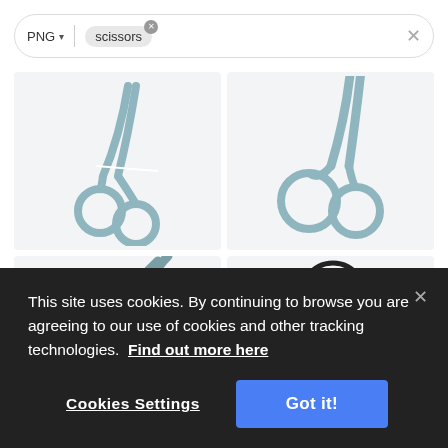[Figure (screenshot): Search bar with PNG format selector and 'scissors' tag pill with X button, and a clear X on the right]
[Figure (screenshot): Four image grid cells showing scissors icons/illustrations on light grey background — top-left: full blue-grey scissors, top-right: partial blue-grey scissors handle and blade, bottom-left: curved blade partial, bottom-right: black outline scissors handle]
This site uses cookies. By continuing to browse you are agreeing to our use of cookies and other tracking technologies.  Find out more here
Cookies Settings
Got it!